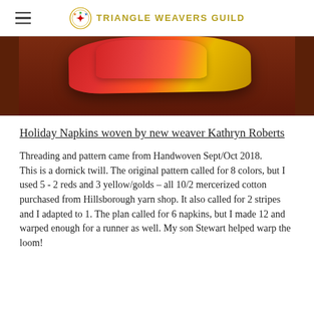Triangle Weavers Guild
[Figure (photo): Close-up photo of red holiday napkins folded on a wooden surface, showing fabric texture with red and gold/yellow colors.]
Holiday Napkins woven by new weaver Kathryn Roberts
Threading and pattern came from Handwoven Sept/Oct 2018.
This is a dornick twill.  The original pattern called for 8 colors, but I used 5 - 2 reds and 3 yellow/golds – all 10/2 mercerized cotton purchased from Hillsborough yarn shop.  It also called for 2 stripes and I adapted to 1.  The plan called for 6 napkins, but I made 12 and warped enough for a runner as well.  My son Stewart helped warp the loom!